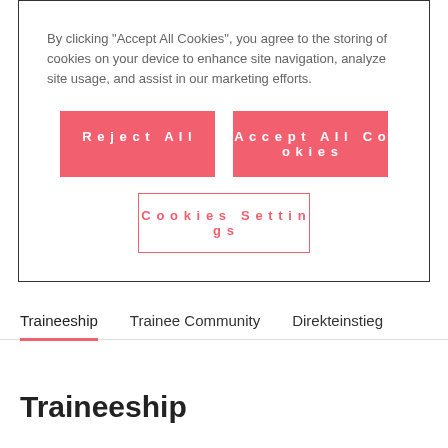By clicking “Accept All Cookies”, you agree to the storing of cookies on your device to enhance site navigation, analyze site usage, and assist in our marketing efforts.
[Figure (screenshot): Cookie consent banner with Reject All and Accept All Cookies buttons (red), and a Cookies Settings button (outlined in red)]
Traineeship | Trainee Community | Direkteinstieg
Traineeship